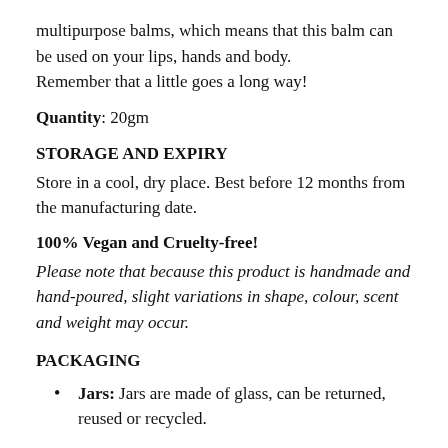multipurpose balms, which means that this balm can be used on your lips, hands and body.
Remember that a little goes a long way!
Quantity: 20gm
STORAGE AND EXPIRY
Store in a cool, dry place. Best before 12 months from the manufacturing date.
100% Vegan and Cruelty-free!
Please note that because this product is handmade and hand-poured, slight variations in shape, colour, scent and weight may occur.
PACKAGING
Jars: Jars are made of glass, can be returned, reused or recycled.
Optional upcycled pouch: You can choose to get a colourful pouch along with any lip balm for gifting or for self-